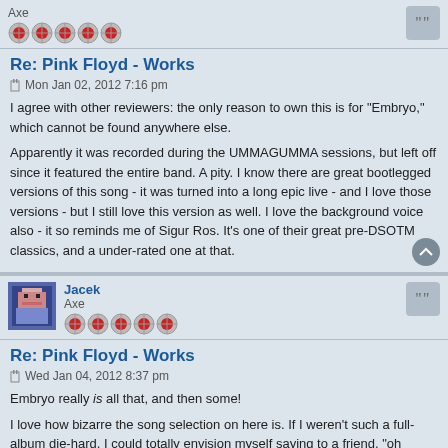Axe
[Figure (illustration): Five red/silver circular star rating icons]
Re: Pink Floyd - Works
Mon Jan 02, 2012 7:16 pm
I agree with other reviewers: the only reason to own this is for "Embryo," which cannot be found anywhere else.
Apparently it was recorded during the UMMAGUMMA sessions, but left off since it featured the entire band. A pity. I know there are great bootlegged versions of this song - it was turned into a long epic live - and I love those versions - but I still love this version as well. I love the background voice also - it so reminds me of Sigur Ros. It's one of their great pre-DSOTM classics, and a under-rated one at that.
Jacek
Axe
[Figure (illustration): Five red/silver circular star rating icons]
Re: Pink Floyd - Works
Wed Jan 04, 2012 8:37 pm
Embryo really is all that, and then some!
I love how bizarre the song selection on here is. If I weren't such a full-album die-hard, I could totally envision myself saying to a friend, "oh